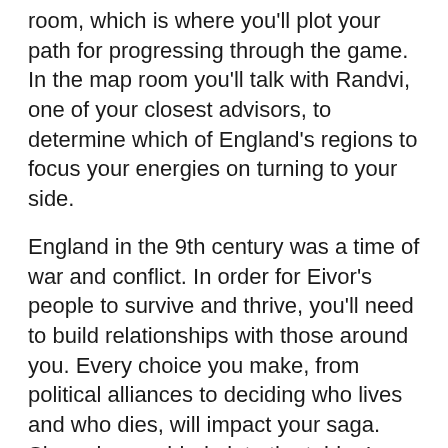room, which is where you'll plot your path for progressing through the game. In the map room you'll talk with Randvi, one of your closest advisors, to determine which of England's regions to focus your energies on turning to your side.
England in the 9th century was a time of war and conflict. In order for Eivor's people to survive and thrive, you'll need to build relationships with those around you. Every choice you make, from political alliances to deciding who lives and who dies, will impact your saga. Slamming my blade into the table, I chose to start with the region of Ledecestrescire, where I would need to help Viking brothers overthrow a Saxon leader and install their own.